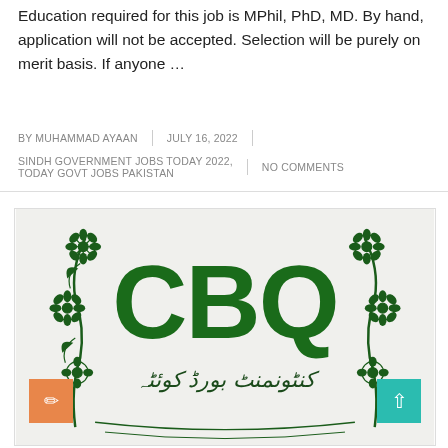Education required for this job is MPhil, PhD, MD. By hand, application will not be accepted. Selection will be purely on merit basis. If anyone ...
BY MUHAMMAD AYAAN | JULY 16, 2022 | SINDH GOVERNMENT JOBS TODAY 2022, TODAY GOVT JOBS PAKISTAN | NO COMMENTS
[Figure (logo): CBQ logo — Cantonment Management Board Quetta logo with large green CBQ letters, floral border designs on both sides, and Urdu text below reading Cantonment Management Board Quetta]